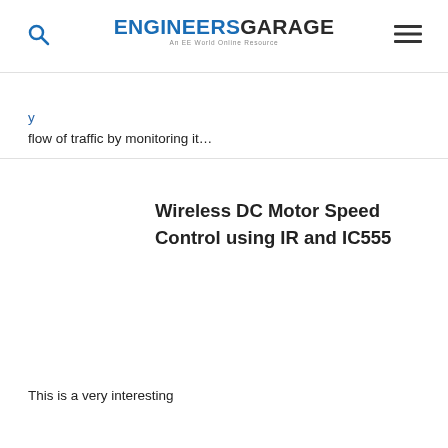ENGINEERS GARAGE — An EE World Online Resource
flow of traffic by monitoring it…
Wireless DC Motor Speed Control using IR and IC555
This is a very interesting